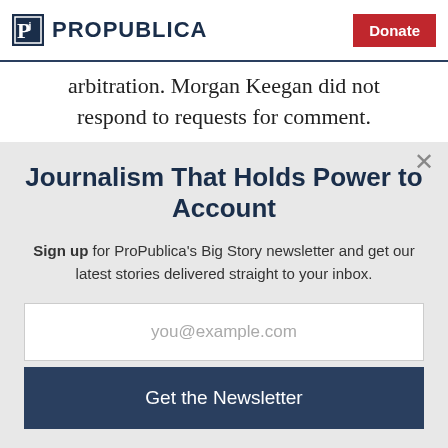ProPublica | Donate
arbitration. Morgan Keegan did not respond to requests for comment.
Journalism That Holds Power to Account
Sign up for ProPublica's Big Story newsletter and get our latest stories delivered straight to your inbox.
you@example.com
Get the Newsletter
No thanks, I'm all set
This site is protected by reCAPTCHA and the Google Privacy Policy and Terms of Service apply.